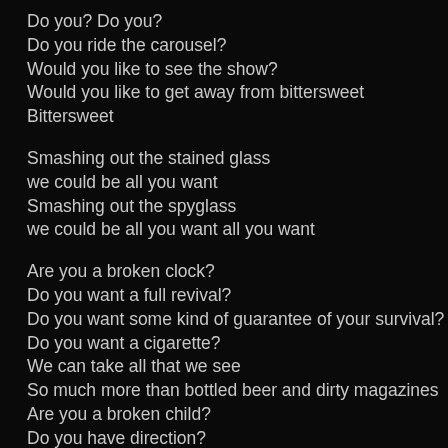Do you? Do you?
Do you ride the carousel?
Would you like to see the show?
Would you like to get away from bittersweet
Bittersweet
Smashing out the stained glass
we could be all you want
Smashing out the spyglass
we could be all you want all you want
Are you a broken clock?
Do you want a full revival?
Do you want some kind of guarantee of your survival?
Do you want a cigarette?
We can take all that we see
So much more than bottled beer and dirty magazines
Are you a broken child?
Do you have direction?
Do you have a hand
A hand to guide you through
To guide you through the night